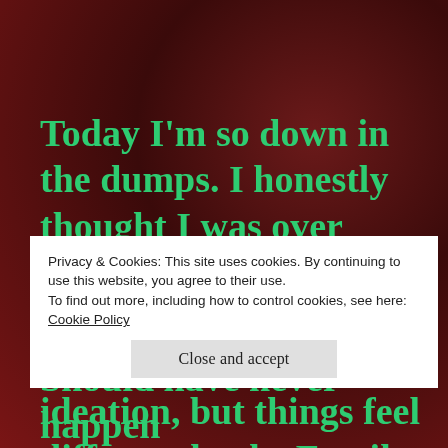Today I'm so down in the dumps. I honestly thought I was over actual suicide attempts smh 🤦. Yes, I constantly suffer with ideation, but things feel different lately. Family is so busy, with their
Privacy & Cookies: This site uses cookies. By continuing to use this website, you agree to their use.
To find out more, including how to control cookies, see here:
Cookie Policy
Close and accept
Should have never happen